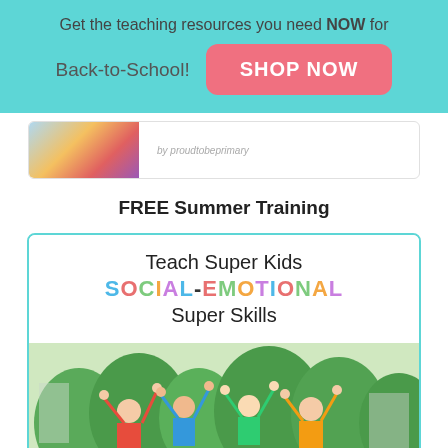Get the teaching resources you need NOW for
Back-to-School!
SHOP NOW
[Figure (illustration): Partial ad card with colorful school supplies illustration and text 'by proudtobeprimary']
FREE Summer Training
[Figure (illustration): Course card with teal border showing 'Teach Super Kids SOCIAL-EMOTIONAL Super Skills' title text and a photo of four children in superhero capes with arms raised outdoors]